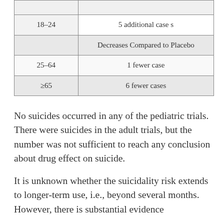| Age Range | Cases |
| --- | --- |
| 18–24 | 5 additional cases |
|  | Decreases Compared to Placebo |
| 25–64 | 1 fewer case |
| ≥65 | 6 fewer cases |
No suicides occurred in any of the pediatric trials. There were suicides in the adult trials, but the number was not sufficient to reach any conclusion about drug effect on suicide.
It is unknown whether the suicidality risk extends to longer-term use, i.e., beyond several months. However, there is substantial evidence